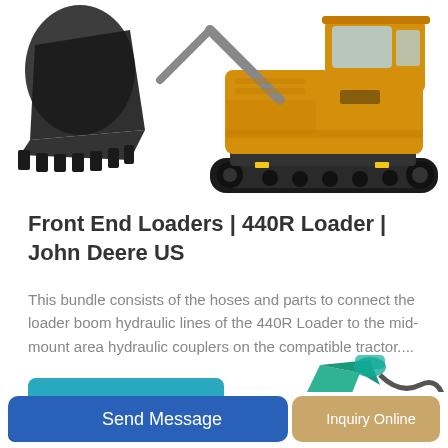[Figure (photo): Construction excavator (tracked, yellow cab with black boom bucket) shown from the side on white background, with a separate close-up of the bucket on the left]
Front End Loaders | 440R Loader | John Deere US
This bundle consists of the hoses and parts to connect the loader boom hydraulic lines of the 440R Loader to the mid-mount area hydraulic couplers on the compatible tractor....
[Figure (illustration): Teal/green Sunward mini excavator arm/attachment shown partially at bottom right of page]
Learn More
Send Message  |  Inquiry Online